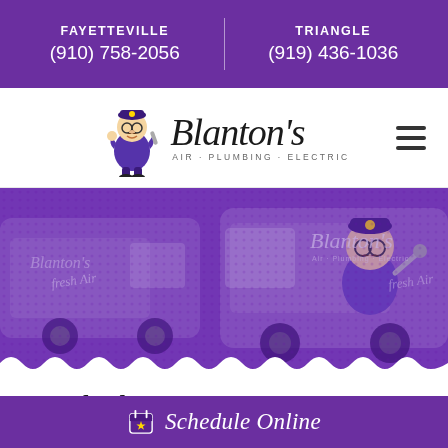FAYETTEVILLE (910) 758-2056 | TRIANGLE (919) 436-1036
[Figure (logo): Blanton's Air Plumbing Electric logo with mascot police officer character]
[Figure (photo): Purple-tinted photo of Blanton's service vans with mascot graphic]
Local Electrician In Apex, NC
Schedule Online